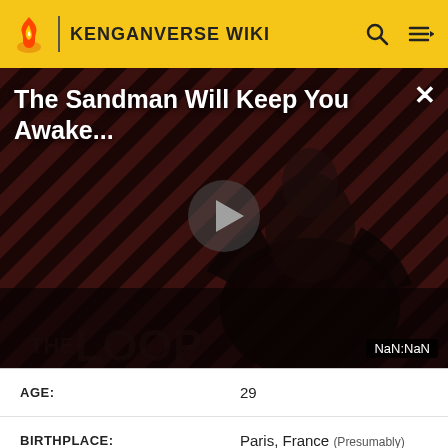KENGANVERSE WIKI
[Figure (screenshot): Video player banner showing 'The Sandman Will Keep You Awake...' with a dark figure in black, diagonal stripe background, play button in center, THE LOOP logo at bottom, and NaN:NaN timestamp]
| AGE: | 29 |
| BIRTHPLACE: | Paris, France (Presumably) |
| BIRTHDAY: | April 13th |